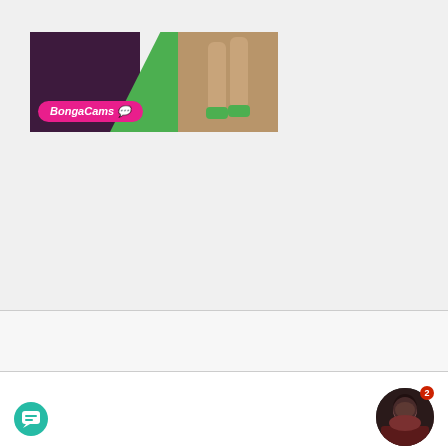[Figure (illustration): BongaCams banner advertisement with purple background on the left, green diagonal section in the middle, and a photo of legs on the right. BongaCams pink logo in the bottom left of the banner.]
NUDES FOR MONEY   WEBCAM MODEL SITES   CONTACT US   AFFILIATE DISCLOSURE   PRIVACY POLICY
[Figure (illustration): Facebook and Twitter social media icons in red]
[Figure (illustration): Circular profile photo of a woman with dark hair]
Copyright 2018 Be A Cam Star
[Figure (illustration): Teal chat bubble icon button in the bottom left corner]